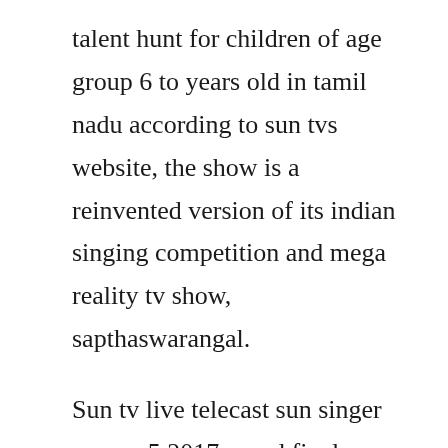talent hunt for children of age group 6 to years old in tamil nadu according to sun tvs website, the show is a reinvented version of its indian singing competition and mega reality tv show, sapthaswarangal.
Sun tv live telecast sun singer season 5 2017 grand finale on 1222017 yuvan shankar raja live performance at 6. Super singer junior 5 grand finale winner announced now vijay tv ssj5 final winner details and updates here on mar 11 sanjanasingh tweeted. Enjoy your favorite program sun singer grand finale live